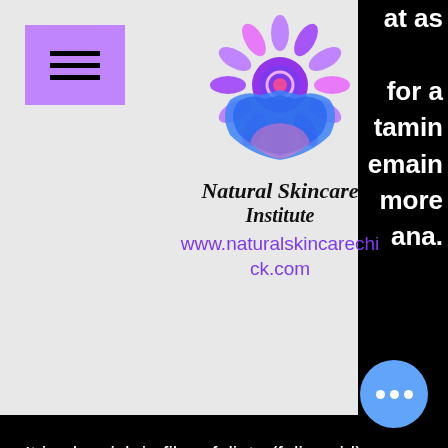[Figure (logo): Natural Skincare Institute logo with sunflower and hands in blue/pink/purple gradient]
Natural Skincare Institute
www.naturalskincarechi ck.com
at as
for a
tamin
emain
more
ana.
It is also rich in fiber, foliate (folic acid), vitamin B6, iron, copper and magnesium. Other than applying avocado on your skin, consuming it in salad form can also be beneficial for your skin. Avocado contains vitamins like A, D, and E which has penetrating qualities to improve your skin. Avocado oil is also very useful for care. The oil is useful to remove sun damage or age spots. It also